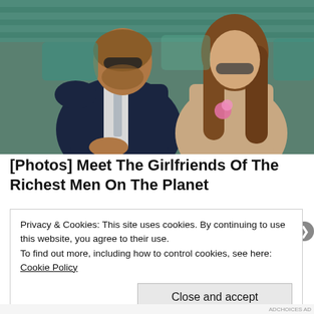[Figure (photo): Two people sitting in stadium/event seating. On the left, a man wearing a dark navy suit with a light tie and sunglasses, with a beard. On the right, a young woman with long brunette hair wearing a beige lace outfit and sunglasses, with a pink flower accessory. Background shows green/teal stadium seating.]
[Photos] Meet The Girlfriends Of The Richest Men On The Planet
Privacy & Cookies: This site uses cookies. By continuing to use this website, you agree to their use.
To find out more, including how to control cookies, see here: Cookie Policy
Close and accept